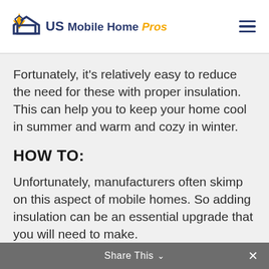US Mobile Home Pros
Fortunately, it’s relatively easy to reduce the need for these with proper insulation. This can help you to keep your home cool in summer and warm and cozy in winter.
HOW TO:
Unfortunately, manufacturers often skimp on this aspect of mobile homes. So adding insulation can be an essential upgrade that you will need to make.
Share This ⌄ ×